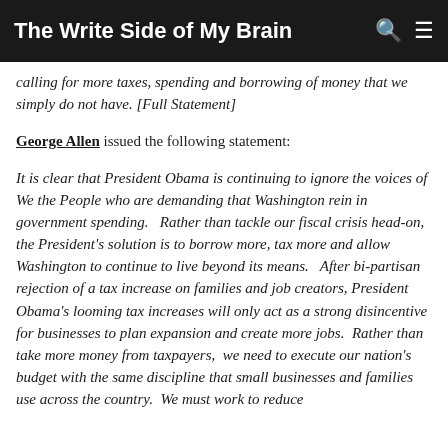The Write Side of My Brain
calling for more taxes, spending and borrowing of money that we simply do not have. [Full Statement]
George Allen issued the following statement: It is clear that President Obama is continuing to ignore the voices of We the People who are demanding that Washington rein in government spending.  Rather than tackle our fiscal crisis head-on, the President's solution is to borrow more, tax more and allow Washington to continue to live beyond its means.  After bi-partisan rejection of a tax increase on families and job creators, President Obama's looming tax increases will only act as a strong disincentive for businesses to plan expansion and create more jobs.  Rather than take more money from taxpayers,  we need to execute our nation's budget with the same discipline that small businesses and families use across the country.  We must work to reduce